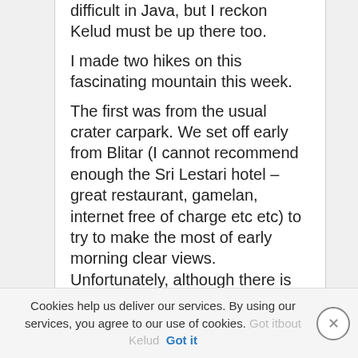difficult in Java, but I reckon Kelud must be up there too. I made two hikes on this fascinating mountain this week. The first was from the usual crater carpark. We set off early from Blitar (I cannot recommend enough the Sri Lestari hotel – great restaurant, gamelan, internet free of charge etc etc) to try to make the most of early morning clear views. Unfortunately, although there is no gate at the foot of the crater road, there is a metal gate 2.5km from the crater carpark so we had to wait until about 7.30am before it was opened – very annoying given that the best time for photos are well before
Cookies help us deliver our services. By using our services, you agree to our use of cookies. Got it